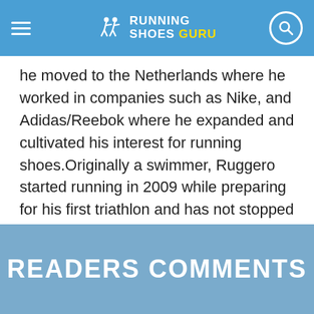Running Shoes Guru
he moved to the Netherlands where he worked in companies such as Nike, and Adidas/Reebok where he expanded and cultivated his interest for running shoes.Originally a swimmer, Ruggero started running in 2009 while preparing for his first triathlon and has not stopped since.He launched Running Shoes Guru in 2009 because he could not find a reliable, independent and trusted source of running shoe reviews elsewhere on the internet.
READERS COMMENTS